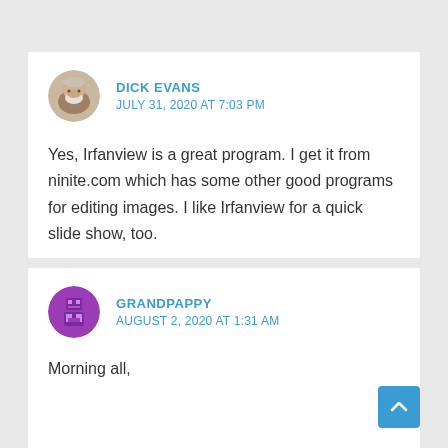[Figure (photo): Circular avatar photo of Dick Evans, an older man with white beard]
DICK EVANS
JULY 31, 2020 AT 7:03 PM
Yes, Irfanview is a great program. I get it from ninite.com which has some other good programs for editing images. I like Irfanview for a quick slide show, too.
[Figure (illustration): Circular avatar illustration of Grandpappy, a pixelated purple figure]
GRANDPAPPY
AUGUST 2, 2020 AT 1:31 AM
Morning all,